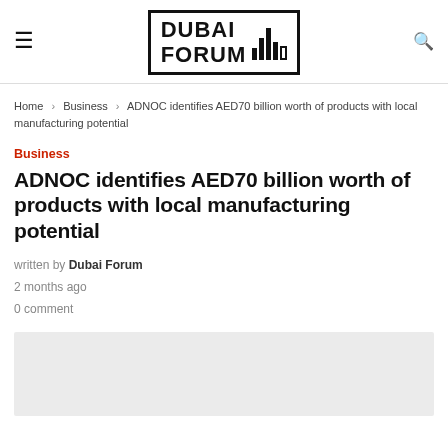DUBAI FORUM
Home > Business > ADNOC identifies AED70 billion worth of products with local manufacturing potential
Business
ADNOC identifies AED70 billion worth of products with local manufacturing potential
written by Dubai Forum
2 months ago
0 comment
[Figure (photo): Gray placeholder image area for the article]